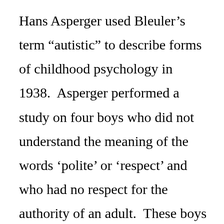Hans Asperger used Bleuler’s term “autistic” to describe forms of childhood psychology in 1938.  Asperger performed a study on four boys who did not understand the meaning of the words ‘polite’ or ‘respect’ and who had no respect for the authority of an adult.  These boys also showed repetitive, stereotypic movements and habits all of which Asperger named “autistic psychopathy,” now called Asperger’s Syndrome.  Hence, most experts consider Leo Kanner and Hans Asperger the